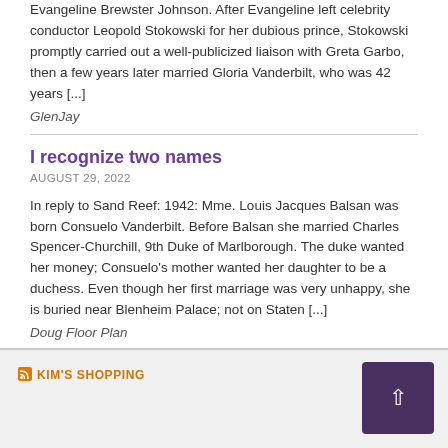Evangeline Brewster Johnson. After Evangeline left celebrity conductor Leopold Stokowski for her dubious prince, Stokowski promptly carried out a well-publicized liaison with Greta Garbo, then a few years later married Gloria Vanderbilt, who was 42 years [...]
GlenJay
I recognize two names
AUGUST 29, 2022
In reply to Sand Reef: 1942: Mme. Louis Jacques Balsan was born Consuelo Vanderbilt. Before Balsan she married Charles Spencer-Churchill, 9th Duke of Marlborough. The duke wanted her money; Consuelo's mother wanted her daughter to be a duchess. Even though her first marriage was very unhappy, she is buried near Blenheim Palace; not on Staten [...]
Doug Floor Plan
KIM'S SHOPPING